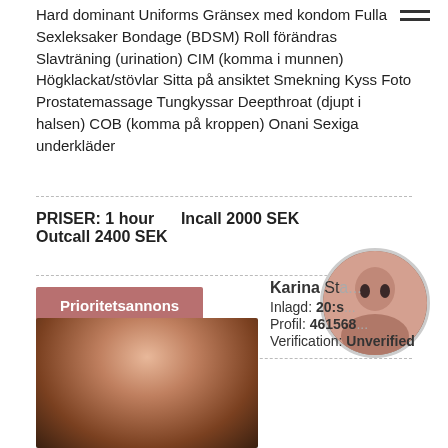Hard dominant Uniforms Gränsex med kondom Fulla Sexleksaker Bondage (BDSM) Roll förändras Slavträning (urination) CIM (komma i munnen) Högklackat/stövlar Sitta på ansiktet Smekning Kyss Foto Prostatemassage Tungkyssar Deepthroat (djupt i halsen) COB (komma på kroppen) Onani Sexiga underkläder
PRISER: 1 hour   Incall 2000 SEK
Outcall 2400 SEK
Prioritetsannons
[Figure (photo): Photo of a woman with dark hair, wearing red lipstick, auburn/red-brown hair, posed indoors]
[Figure (photo): Circular profile photo of a dark-haired woman]
Karina St...
Inlagd: 20:...
Profil: 461568...
Verification: Unverified